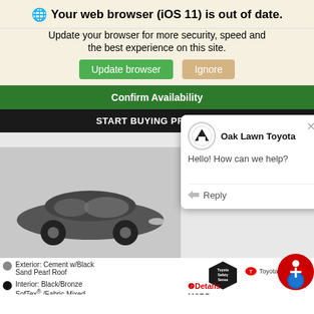Your web browser (iOS 11) is out of date.
Update your browser for more security, speed and the best experience on this site.
Update browser  Ignore
Confirm Availability
START BUYING PROCESS
[Figure (screenshot): Chat popup from Oak Lawn Toyota saying 'Hello! How can we help?' with a Reply button]
[Figure (photo): Gray Toyota Corolla car photo]
Exterior: Cement w/Black Sand Pearl Roof
Interior: Black/Bronze SofTex® /Fabric Mixed Media
❷Details
MSRP